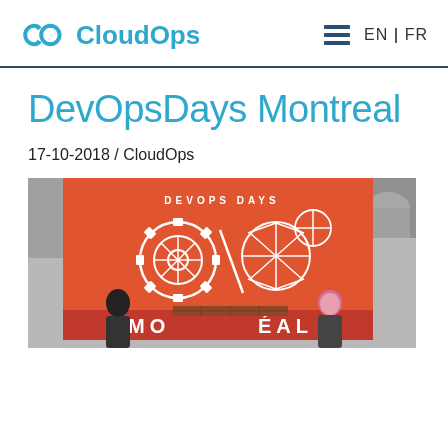CloudOps  EN | FR
DevOpsDays Montreal
17-10-2018 / CloudOps
[Figure (photo): Event photo showing DevOps Days Montreal stage with orange/red background, white logo graphic of gears and geometric shapes, and 'MONTREAL' text partially visible at the bottom. Presenters visible in front of the stage.]